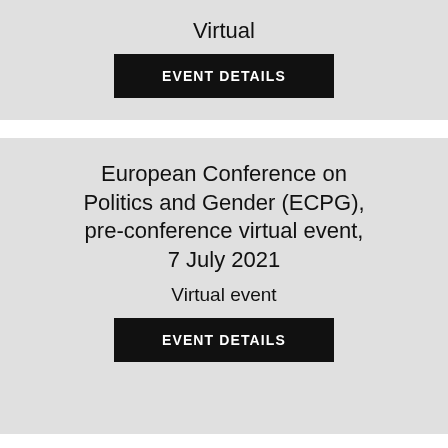Virtual
EVENT DETAILS
European Conference on Politics and Gender (ECPG), pre-conference virtual event, 7 July 2021
Virtual event
EVENT DETAILS